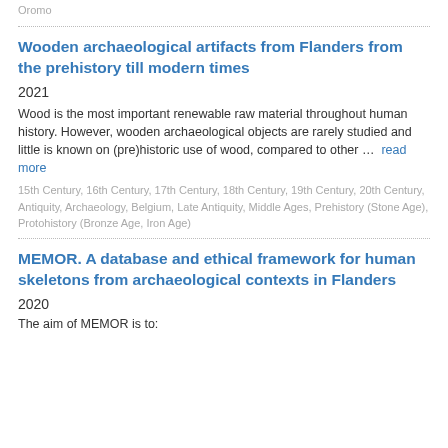Oromo
Wooden archaeological artifacts from Flanders from the prehistory till modern times
2021
Wood is the most important renewable raw material throughout human history. However, wooden archaeological objects are rarely studied and little is known on (pre)historic use of wood, compared to other … read more
15th Century, 16th Century, 17th Century, 18th Century, 19th Century, 20th Century, Antiquity, Archaeology, Belgium, Late Antiquity, Middle Ages, Prehistory (Stone Age), Protohistory (Bronze Age, Iron Age)
MEMOR. A database and ethical framework for human skeletons from archaeological contexts in Flanders
2020
The aim of MEMOR is to: